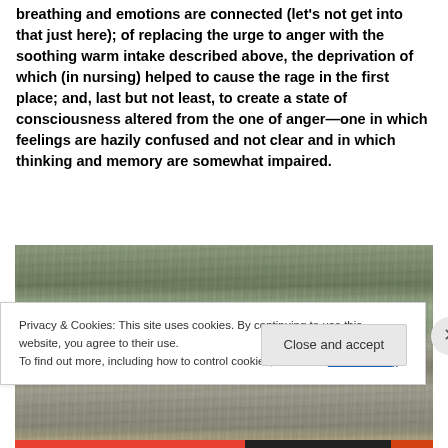breathing and emotions are connected (let's not get into that just here); of replacing the urge to anger with the soothing warm intake described above, the deprivation of which (in nursing) helped to cause the rage in the first place; and, last but not least, to create a state of consciousness altered from the one of anger—one in which feelings are hazily confused and not clear and in which thinking and memory are somewhat impaired.
[Figure (photo): A photograph showing what appears to be a rocky or stone textured surface, possibly a natural landscape or rock formation with muted green-gray tones.]
Privacy & Cookies: This site uses cookies. By continuing to use this website, you agree to their use.
To find out more, including how to control cookies, see here: Cookie Policy